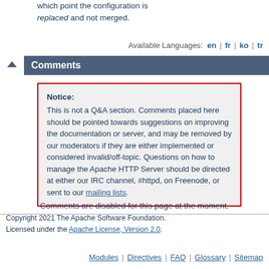which point the configuration is replaced and not merged.
Available Languages: en | fr | ko | tr
Comments
Notice:
This is not a Q&A section. Comments placed here should be pointed towards suggestions on improving the documentation or server, and may be removed by our moderators if they are either implemented or considered invalid/off-topic. Questions on how to manage the Apache HTTP Server should be directed at either our IRC channel, #httpd, on Freenode, or sent to our mailing lists.
Comments are disabled for this page at the moment.
Copyright 2021 The Apache Software Foundation.
Licensed under the Apache License, Version 2.0.
Modules | Directives | FAQ | Glossary | Sitemap